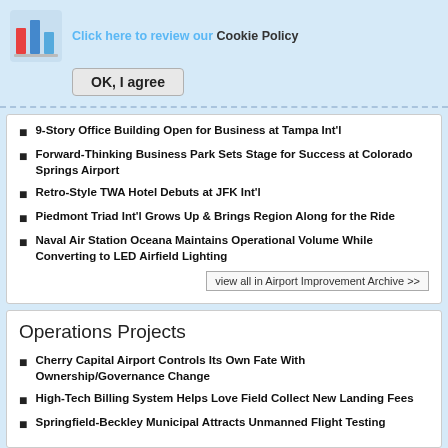[Figure (logo): Colorful bar chart logo icon]
Click here to review our Cookie Policy
OK, I agree
9-Story Office Building Open for Business at Tampa Int'l
Forward-Thinking Business Park Sets Stage for Success at Colorado Springs Airport
Retro-Style TWA Hotel Debuts at JFK Int'l
Piedmont Triad Int'l Grows Up & Brings Region Along for the Ride
Naval Air Station Oceana Maintains Operational Volume While Converting to LED Airfield Lighting
view all in Airport Improvement Archive >>
Operations Projects
Cherry Capital Airport Controls Its Own Fate With Ownership/Governance Change
High-Tech Billing System Helps Love Field Collect New Landing Fees
Springfield-Beckley Municipal Attracts Unmanned Flight Testing